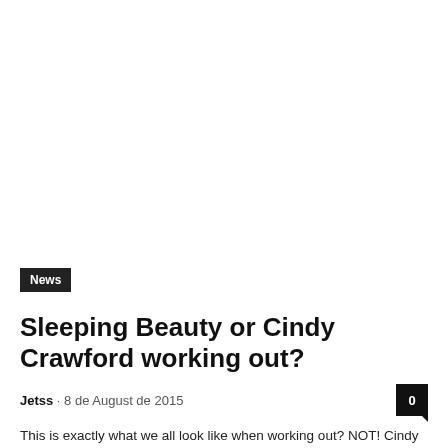[Figure (other): Large white/blank image placeholder at the top of the article page]
News
Sleeping Beauty or Cindy Crawford working out?
Jetss · 8 de August de 2015
This is exactly what we all look like when working out? NOT! Cindy Crawford is known as a woman who...